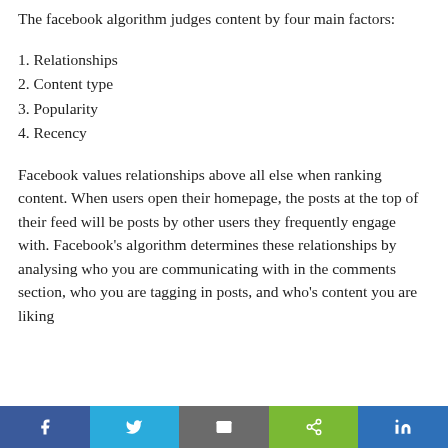The facebook algorithm judges content by four main factors:
1. Relationships
2. Content type
3. Popularity
4. Recency
Facebook values relationships above all else when ranking content. When users open their homepage, the posts at the top of their feed will be posts by other users they frequently engage with. Facebook's algorithm determines these relationships by analysing who you are communicating with in the comments section, who you are tagging in posts, and who's content you are liking